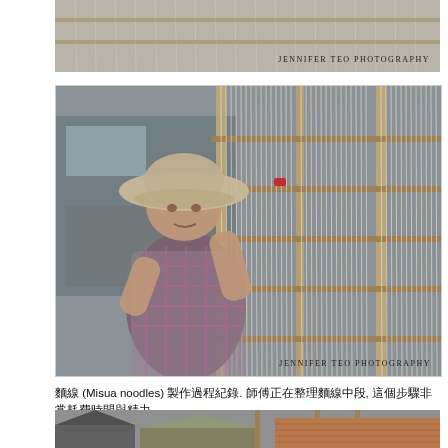[Figure (photo): Partial top of a photo showing fabric or noodles hanging, with watermark 'JENNIFER TEO PHOTOGRAPHY' at bottom right]
[Figure (photo): Main photo of an elderly Asian woman wearing a wide-brim hat and plaid shirt, working with hanging rice noodles or strings on a rack. A van is visible in the background. Watermark 'JENNIFER TEO PHOTOGRAPHY' at bottom right.]
麵線 (Misua noodles) 製作過程紀錄. 師傅正在整理麵線中段, 這個步驟非常耗費時間與精力.
[Figure (photo): Partial bottom photo showing rooftops and utility poles in a town, black and white tones with some color.]